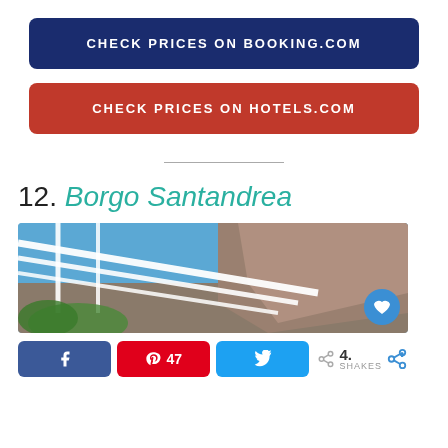CHECK PRICES ON BOOKING.COM
CHECK PRICES ON HOTELS.COM
12. Borgo Santandrea
[Figure (photo): Exterior architectural photo of Borgo Santandrea showing white pergola/awning structure with rocky cliff face in background under blue sky]
4. SHARES — social sharing bar with Facebook, Pinterest (47), Twitter buttons